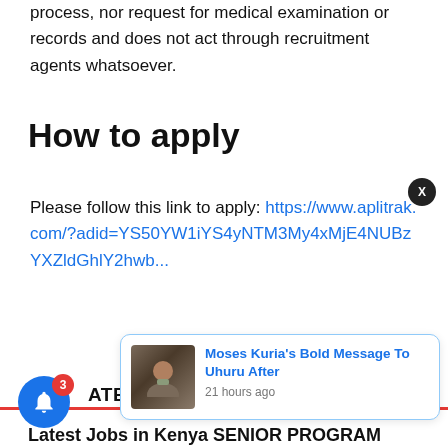process, nor request for medical examination or records and does not act through recruitment agents whatsoever.
How to apply
Please follow this link to apply: https://www.aplitrak.com/?adid=YS50YW1iYS4yNTM3My4xMjE4NUBzYXZldGhlY2hwb...
RELATED PO...
Latest Jobs in Kenya SENIOR PROGRAM